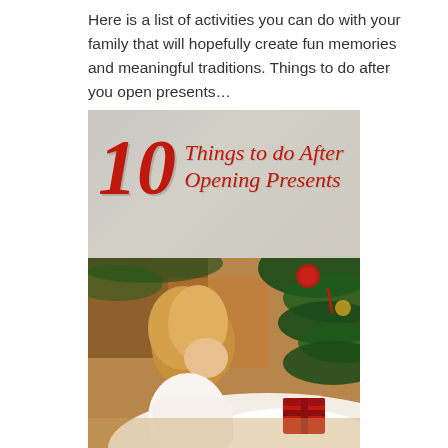Here is a list of activities you can do with your family that will hopefully create fun memories and meaningful traditions. Things to do after you open presents…
[Figure (photo): Composite image: top half shows a stylized banner with red script text '10 Things to do After Opening Presents' over a muted gray-beige background. Bottom half shows a young child with blonde hair looking up at a decorated Christmas tree with ornaments and branches, with white tree skirt/rug visible and a red gift box nearby.]